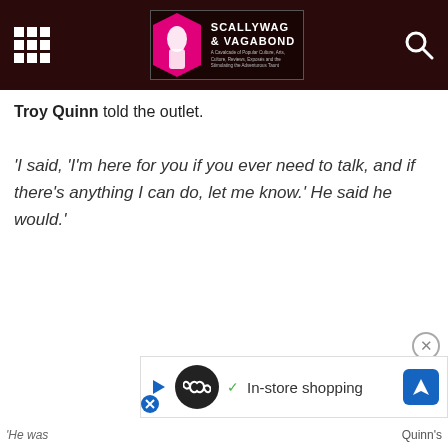Scallywag & Vagabond
Troy Quinn told the outlet.
‘I said, ‘I’m here for you if you ever need to talk, and if there’s anything I can do, let me know.’ He said he would.’